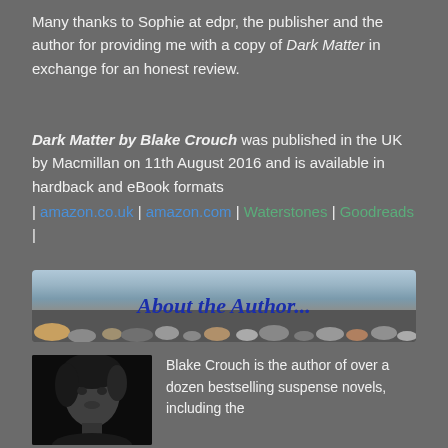Many thanks to Sophie at edpr, the publisher and the author for providing me with a copy of Dark Matter in exchange for an honest review.
Dark Matter by Blake Crouch was published in the UK by Macmillan on 11th August 2016 and is available in hardback and eBook formats | amazon.co.uk | amazon.com | Waterstones | Goodreads |
[Figure (illustration): Banner image with pebble beach background and text 'About the Author...' in bold italic blue serif font]
[Figure (photo): Black and white portrait photo of Blake Crouch]
Blake Crouch is the author of over a dozen bestselling suspense novels, including the